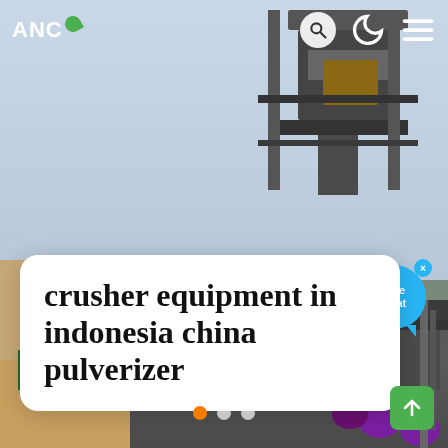[Figure (photo): Industrial crusher/pulverizer equipment with workers in orange hard hats on the left side, large grey metal machinery structure in background, sky visible above. Website screenshot overlay showing a news/blog page with header navigation.]
ANC
crusher equipment in indonesia china pulverizer